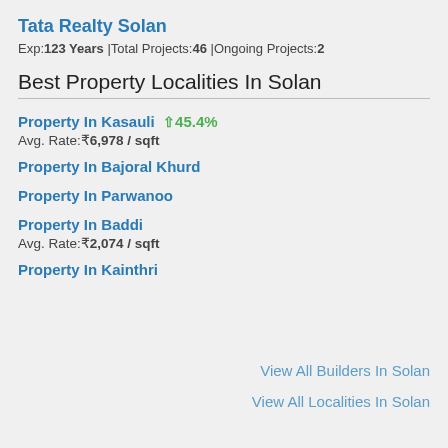Tata Realty Solan
Exp:123 Years |Total Projects:46 |Ongoing Projects:2
Best Property Localities In Solan
Property In Kasauli  ↑45.4%
Avg. Rate:₹6,978 / sqft
Property In Bajoral Khurd
Property In Parwanoo
Property In Baddi
Avg. Rate:₹2,074 / sqft
Property In Kainthri
View All Builders In Solan
View All Localities In Solan